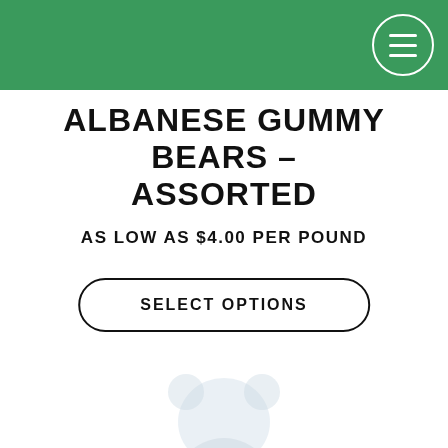ALBANESE GUMMY BEARS – ASSORTED
AS LOW AS $4.00 PER POUND
SELECT OPTIONS
[Figure (photo): Partially visible product photo of Albanese gummy bears, shown faded/light at the bottom of the page]